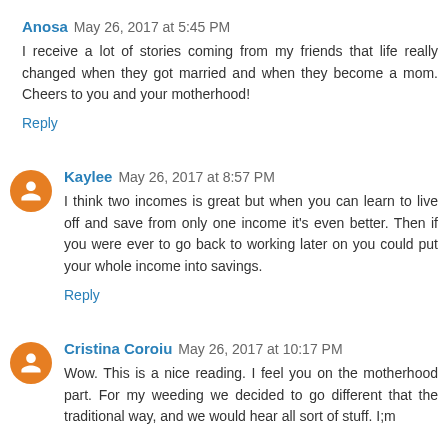Anosa May 26, 2017 at 5:45 PM
I receive a lot of stories coming from my friends that life really changed when they got married and when they become a mom. Cheers to you and your motherhood!
Reply
Kaylee May 26, 2017 at 8:57 PM
I think two incomes is great but when you can learn to live off and save from only one income it's even better. Then if you were ever to go back to working later on you could put your whole income into savings.
Reply
Cristina Coroiu May 26, 2017 at 10:17 PM
Wow. This is a nice reading. I feel you on the motherhood part. For my weeding we decided to go different that the traditional way, and we would hear all sort of stuff. I;m